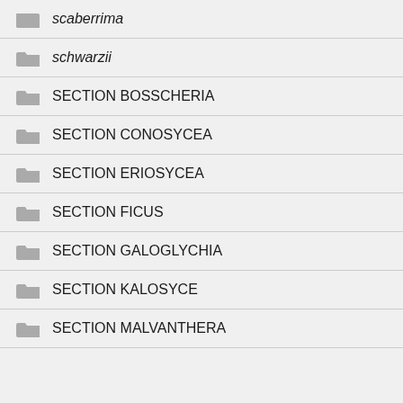scaberrima
schwarzii
SECTION BOSSCHERIA
SECTION CONOSYCEA
SECTION ERIOSYCEA
SECTION FICUS
SECTION GALOGLYCHIA
SECTION KALOSYCE
SECTION MALVANTHERA